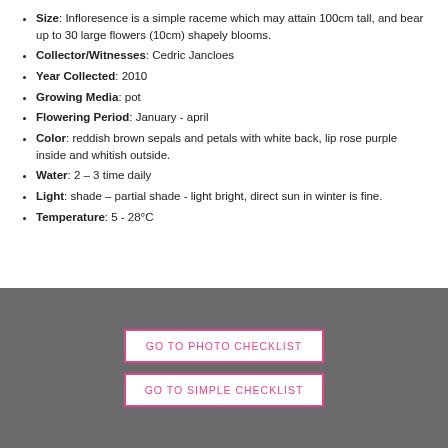Size: Infloresence is a simple raceme which may attain 100cm tall, and bear up to 30 large flowers (10cm) shapely blooms.
Collector/Witnesses: Cedric Jancloes
Year Collected: 2010
Growing Media: pot
Flowering Period: January -  april
Color: reddish brown sepals and petals with white back, lip rose purple inside and whitish outside.
Water: 2 – 3 time daily
Light: shade – partial shade -  light bright, direct sun in winter is fine.
Temperature: 5 - 28°C
GO TO PHOTO CHECKLIST
GO TO SIMPLE CHECKLIST